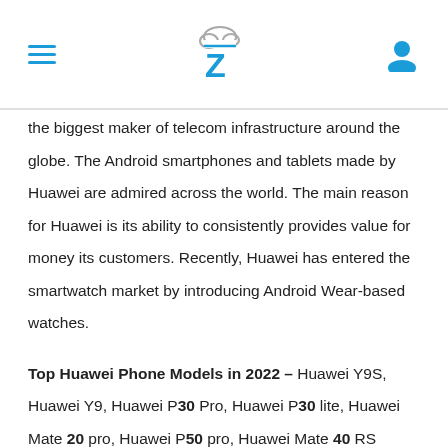ZCloud logo with hamburger menu and user icon
the biggest maker of telecom infrastructure around the globe. The Android smartphones and tablets made by Huawei are admired across the world. The main reason for Huawei is its ability to consistently provides value for money its customers. Recently, Huawei has entered the smartwatch market by introducing Android Wear-based watches.
Top Huawei Phone Models in 2022 – Huawei Y9S, Huawei Y9, Huawei P30 Pro, Huawei P30 lite, Huawei Mate 20 pro, Huawei P50 pro, Huawei Mate 40 RS Porsche